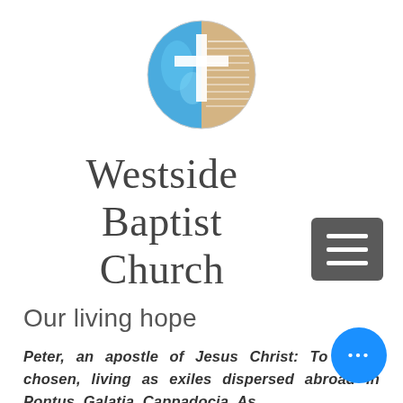[Figure (logo): Circular logo split into two halves: left half is a blue globe showing the Americas, right half is a tan/beige open Bible with text. A white cross overlays the center where the two halves meet.]
Westside Baptist Church
[Figure (other): Hamburger menu icon: dark gray rounded rectangle with three horizontal white lines]
Our living hope
Peter, an apostle of Jesus Christ: To those chosen, living as exiles dispersed abroad in Pontus, Galatia, Cappadocia, Asia, and Bithynia, chosen according to the
[Figure (other): Blue circular chat/more options button with three white dots (ellipsis)]